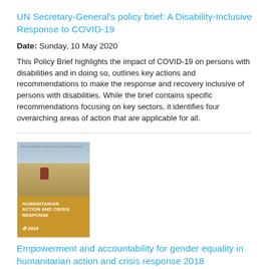UN Secretary-General's policy brief: A Disability-Inclusive Response to COVID-19
Date: Sunday, 10 May 2020
This Policy Brief highlights the impact of COVID-19 on persons with disabilities and in doing so, outlines key actions and recommendations to make the response and recovery inclusive of persons with disabilities. While the brief contains specific recommendations focusing on key sectors, it identifies four overarching areas of action that are applicable for all.
[Figure (photo): Book cover of 'Humanitarian Action and Crisis Response 2018' report, showing a person in an arid landscape with a yellow/orange lower section.]
Empowerment and accountability for gender equality in humanitarian action and crisis response 2018
Date: Monday, 29 July 2019
Humanitarian needs continue to grow with nearly 132 million people in need of assistance in 2018. In response, 6 new reports and...